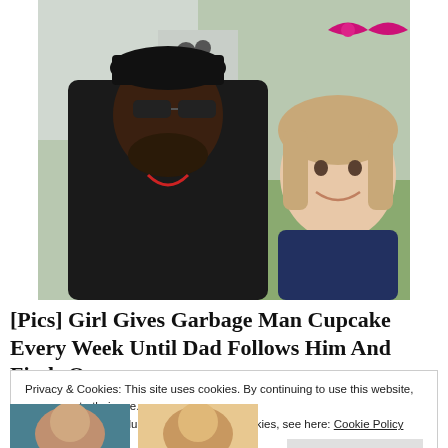[Figure (photo): A smiling man wearing a black cap and sunglasses with a young girl with a pink bow in her hair, posing together outdoors near a vehicle]
[Pics] Girl Gives Garbage Man Cupcake Every Week Until Dad Follows Him And Finds Out...
Privacy & Cookies: This site uses cookies. By continuing to use this website, you agree to their use.
To find out more, including how to control cookies, see here: Cookie Policy
Close and accept
[Figure (photo): Partial image at the bottom showing two people]